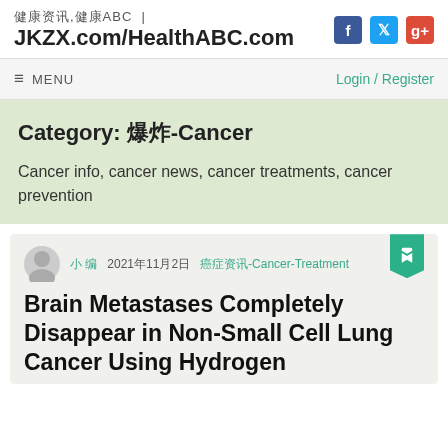健康资讯,健康ABC | JKZX.com/HealthABC.com
≡ MENU    Login / Register
Category: 癌症-Cancer
Cancer info, cancer news, cancer treatments, cancer prevention
作者名 2021年11月2日 癌症Cancer-Cancer-Treatment
Brain Metastases Completely Disappear in Non-Small Cell Lung Cancer Using Hydrogen